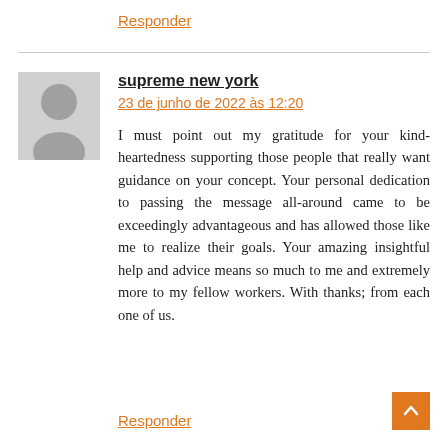Responder
[Figure (illustration): Generic grey user avatar silhouette placeholder image]
supreme new york
23 de junho de 2022 às 12:20
I must point out my gratitude for your kind-heartedness supporting those people that really want guidance on your concept. Your personal dedication to passing the message all-around came to be exceedingly advantageous and has allowed those like me to realize their goals. Your amazing insightful help and advice means so much to me and extremely more to my fellow workers. With thanks; from each one of us.
Responder